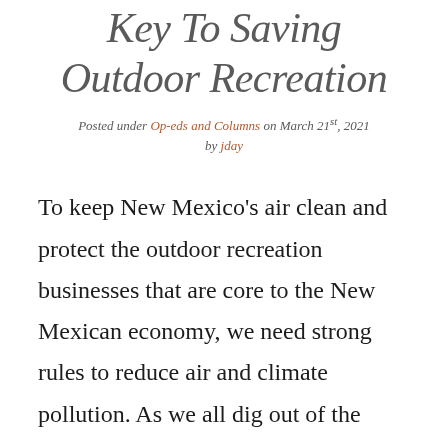Key To Saving Outdoor Recreation
Posted under Op-eds and Columns on March 21st, 2021 by jday
To keep New Mexico's air clean and protect the outdoor recreation businesses that are core to the New Mexican economy, we need strong rules to reduce air and climate pollution. As we all dig out of the current economic crisis, it's more important now than ever to maintain